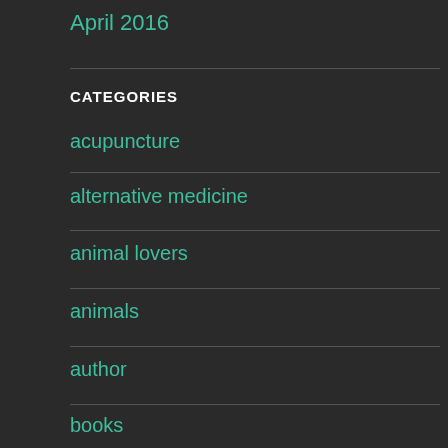April 2016
CATEGORIES
acupuncture
alternative medicine
animal lovers
animals
author
books